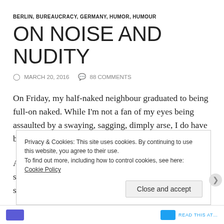BERLIN, BUREAUCRACY, GERMANY, HUMOR, HUMOUR
ON NOISE AND NUDITY
MARCH 20, 2016   88 COMMENTS
On Friday, my half-naked neighbour graduated to being full-on naked. While I'm not a fan of my eyes being assaulted by a swaying, sagging, dimply arse, I do have bigger problems with the guy.
As I've mentioned before, he's an opera singer. Or opera student. Whatever. All I know is that it entails him singing
Privacy & Cookies: This site uses cookies. By continuing to use this website, you agree to their use.
To find out more, including how to control cookies, see here: Cookie Policy
Close and accept